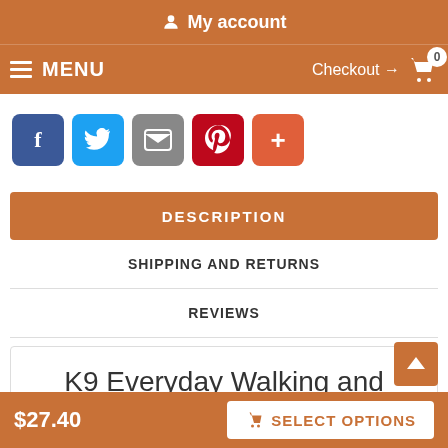My account
MENU  Checkout → 0
[Figure (other): Social share buttons: Facebook, Twitter, Email, Pinterest, Plus]
DESCRIPTION
SHIPPING AND RETURNS
REVIEWS
K9 Everyday Walking and Training Leather Leash
$27.40  SELECT OPTIONS